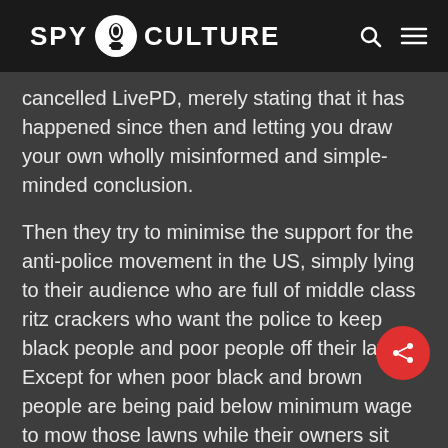SPY CULTURE
cancelled LivePD, merely stating that it has happened since then and letting you draw your own wholly misinformed and simple-minded conclusion.
Then they try to minimise the support for the anti-police movement in the US, simply lying to their audience who are full of middle class ritz crackers who want the police to keep black people and poor people off their lawns. Except for when poor black and brown people are being paid below minimum wage to mow those lawns while their owners sit